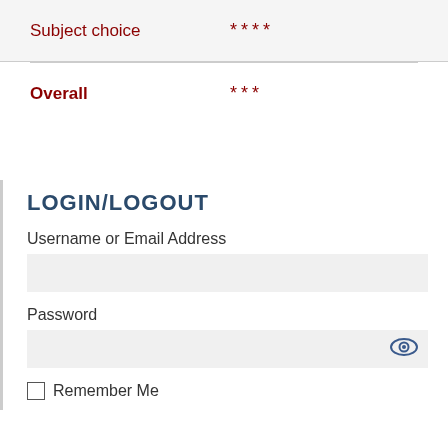Subject choice  ****
Overall  ***
LOGIN/LOGOUT
Username or Email Address
Password
Remember Me